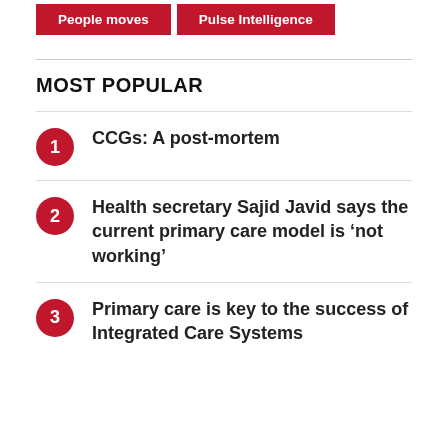People moves | Pulse Intelligence
MOST POPULAR
CCGs: A post-mortem
Health secretary Sajid Javid says the current primary care model is ‘not working’
Primary care is key to the success of Integrated Care Systems